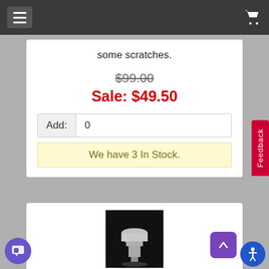Navigation bar with menu and cart icons
some scratches.
$99.00
Sale: $49.50
Add: 0
We have 3 In Stock.
[Figure (photo): Product photo of a silver metallic trumpet mouthpiece or similar cylindrical metal hardware component on a black background with reflection]
Feedback